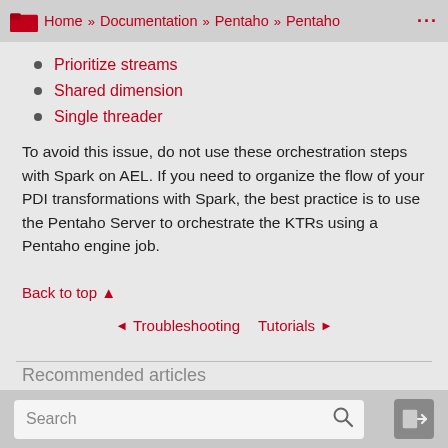Home » Documentation » Pentaho » Pentaho ...
Prioritize streams
Shared dimension
Single threader
To avoid this issue, do not use these orchestration steps with Spark on AEL. If you need to organize the flow of your PDI transformations with Spark, the best practice is to use the Pentaho Server to orchestrate the KTRs using a Pentaho engine job.
Back to top ▲
◄ Troubleshooting   Tutorials ►
Recommended articles